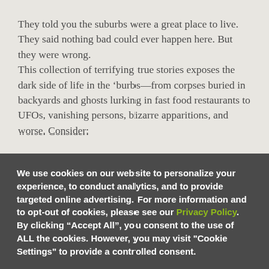They told you the suburbs were a great place to live. They said nothing bad could ever happen here. But they were wrong.
This collection of terrifying true stories exposes the dark side of life in the ‘burbs—from corpses buried in backyards and ghosts lurking in fast food restaurants to UFOs, vanishing persons, bizarre apparitions, and worse. Consider:
We use cookies on our website to personalize your experience, to conduct analytics, and to provide targeted online advertising. For more information and to opt-out of cookies, please see our Privacy Policy. By clicking “Accept All”, you consent to the use of ALL the cookies. However, you may visit "Cookie Settings" to provide a controlled consent.